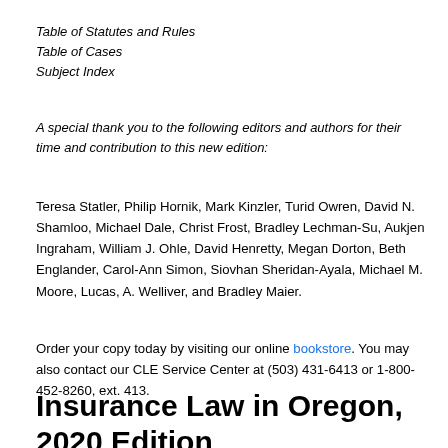Table of Statutes and Rules
Table of Cases
Subject Index
A special thank you to the following editors and authors for their time and contribution to this new edition:
Teresa Statler, Philip Hornik, Mark Kinzler, Turid Owren, David N. Shamloo, Michael Dale, Christ Frost, Bradley Lechman-Su, Aukjen Ingraham, William J. Ohle, David Henretty, Megan Dorton, Beth Englander, Carol-Ann Simon, Siovhan Sheridan-Ayala, Michael M. Moore, Lucas, A. Welliver, and Bradley Maier.
Order your copy today by visiting our online bookstore. You may also contact our CLE Service Center at (503) 431-6413 or 1-800-452-8260, ext. 413.
Insurance Law in Oregon, 2020 Edition